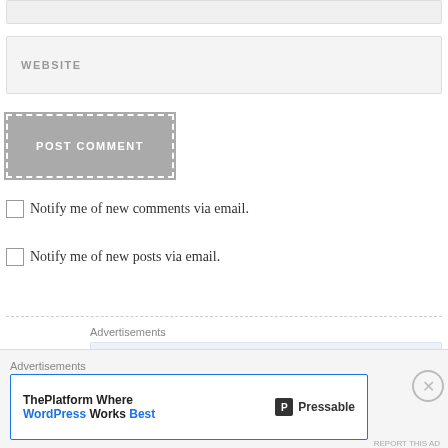[Figure (screenshot): Website input field (top, partially visible)]
WEBSITE
[Figure (screenshot): POST COMMENT button with dashed border]
Notify me of new comments via email.
Notify me of new posts via email.
Advertisements
[Figure (screenshot): Light blue advertisement placeholder box]
Advertisements
[Figure (screenshot): Pressable advertisement banner: ThePlatform Where WordPress Works Best]
REPORT THIS AD